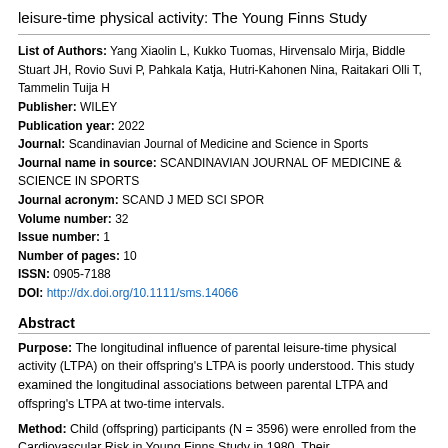leisure-time physical activity: The Young Finns Study
List of Authors: Yang Xiaolin L, Kukko Tuomas, Hirvensalo Mirja, Biddle Stuart JH, Rovio Suvi P, Pahkala Katja, Hutri-Kahonen Nina, Raitakari Olli T, Tammelin Tuija H
Publisher: WILEY
Publication year: 2022
Journal: Scandinavian Journal of Medicine and Science in Sports
Journal name in source: SCANDINAVIAN JOURNAL OF MEDICINE & SCIENCE IN SPORTS
Journal acronym: SCAND J MED SCI SPOR
Volume number: 32
Issue number: 1
Number of pages: 10
ISSN: 0905-7188
DOI: http://dx.doi.org/10.1111/sms.14066
Abstract
Purpose: The longitudinal influence of parental leisure-time physical activity (LTPA) on their offspring's LTPA is poorly understood. This study examined the longitudinal associations between parental LTPA and offspring's LTPA at two-time intervals.
Method: Child (offspring) participants (N = 3596) were enrolled from the Cardiovascular Risk in Young Finns Study in 1980. Their